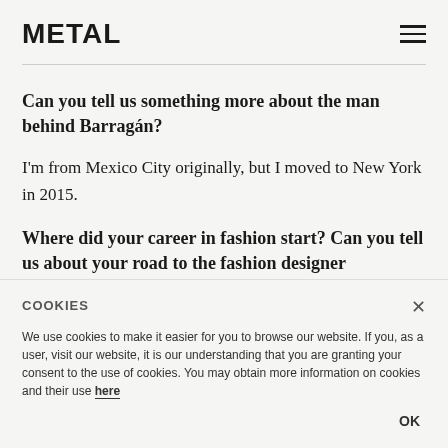METAL
Can you tell us something more about the man behind Barragán?
I'm from Mexico City originally, but I moved to New York in 2015.
Where did your career in fashion start? Can you tell us about your road to the fashion designer now?
I found my way into fashion through art direction. I started working on my brand after I quit industrial design in Mexico City. The brand grew up in an organically
COOKIES

We use cookies to make it easier for you to browse our website. If you, as a user, visit our website, it is our understanding that you are granting your consent to the use of cookies. You may obtain more information on cookies and their use here

OK